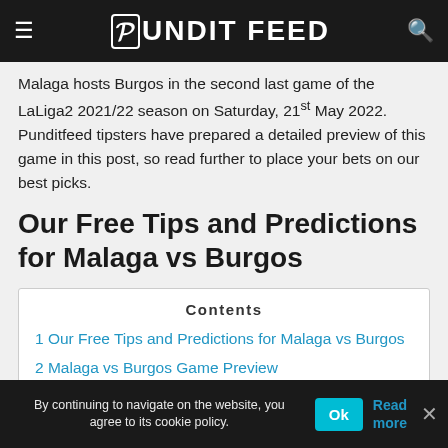Pundit Feed
Malaga hosts Burgos in the second last game of the LaLiga2 2021/22 season on Saturday, 21st May 2022. Punditfeed tipsters have prepared a detailed preview of this game in this post, so read further to place your bets on our best picks.
Our Free Tips and Predictions for Malaga vs Burgos
| Contents |
| --- |
| 1 Our Free Tips and Predictions for Malaga vs Burgos |
| 2 Malaga vs Burgos Game Preview |
By continuing to navigate on the website, you agree to its cookie policy. Ok Read more ×